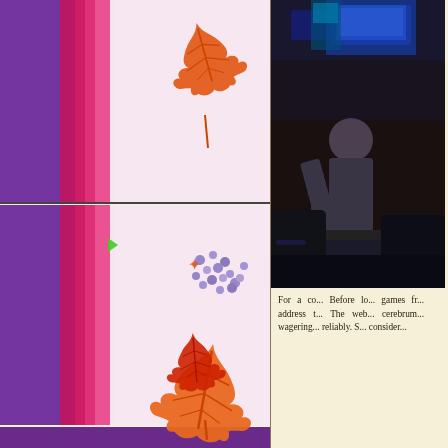[Figure (illustration): Left column collage: digitally processed images with purple/pink/red abstract textures on the left side, combined with pink Japanese washi paper background showing orange and red maple leaves (momiji) and purple wisteria flower clusters. The collage is divided into three horizontal strips with thin borders between them.]
[Figure (photo): Upper right: indoor photo showing a person sitting in a dark room with electronic equipment/screens in the background, possibly a casino or gaming environment with blue/purple lighting.]
For a co... Before lo... games fr... address t... The web... cerebrum... wagering... reliably. S... consider...